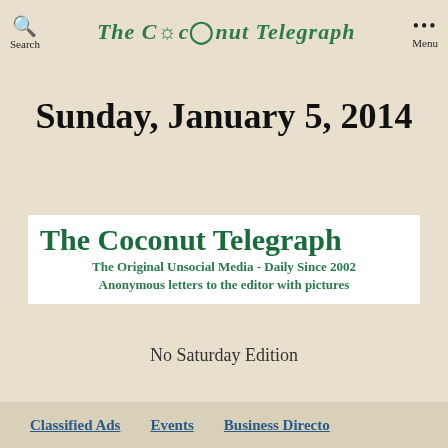The Coconut Telegraph
Sunday, January 5, 2014
[Figure (logo): The Coconut Telegraph logo banner with text: The Original Unsocial Media - Daily Since 2002 / Anonymous letters to the editor with pictures]
No Saturday Edition
Classified Ads   Events   Business Directory